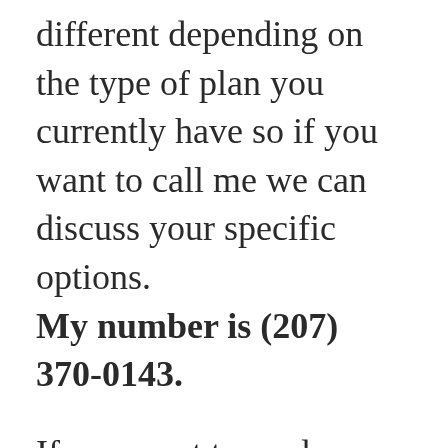different depending on the type of plan you currently have so if you want to call me we can discuss your specific options. My number is (207) 370-0143.
If you want to read more on your own before we talk you can review these new rules on